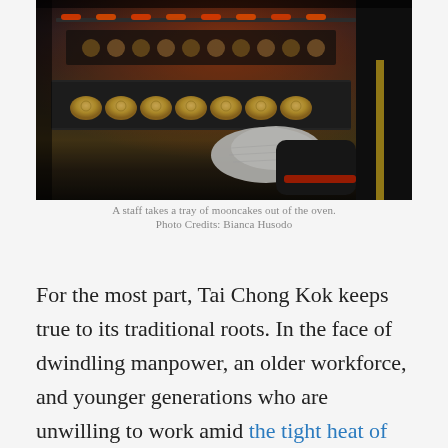[Figure (photo): A staff member wearing an oven mitt takes a tray of golden mooncakes out of a commercial oven, with multiple trays of mooncakes visible inside the dark oven.]
A staff takes a tray of mooncakes out of the oven.
Photo Credits: Bianca Husodo
For the most part, Tai Chong Kok keeps true to its traditional roots. In the face of dwindling manpower, an older workforce, and younger generations who are unwilling to work amid the tight heat of the food and beverage industry, Ham has resorted to using machinery only in the